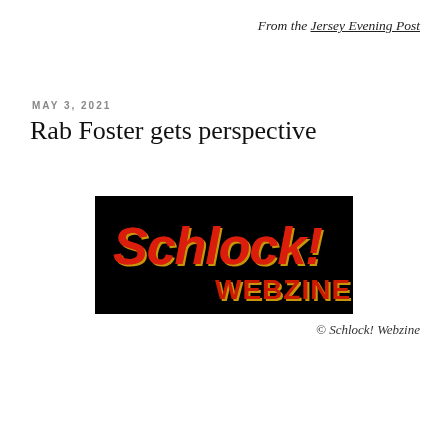From the Jersey Evening Post
MAY 3, 2021
Rab Foster gets perspective
[Figure (logo): Schlock! Webzine logo — red stylized text on black background]
© Schlock! Webzine
...